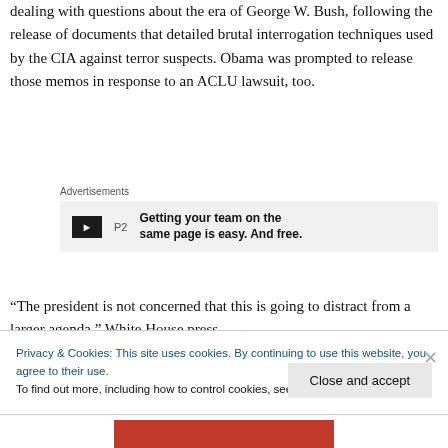dealing with questions about the era of George W. Bush, following the release of documents that detailed brutal interrogation techniques used by the CIA against terror suspects. Obama was prompted to release those memos in response to an ACLU lawsuit, too.
[Figure (screenshot): Advertisement banner for P2 service with text: Getting your team on the same page is easy. And free.]
“The president is not concerned that this is going to distract from a larger agenda,” White House press
Privacy & Cookies: This site uses cookies. By continuing to use this website, you agree to their use.
To find out more, including how to control cookies, see here: Cookie Policy